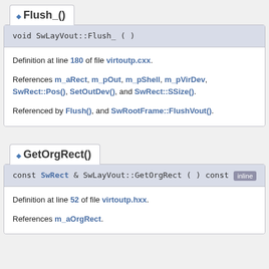Flush_()
void SwLayVout::Flush_ ( )
Definition at line 180 of file virtoutp.cxx.

References m_aRect, m_pOut, m_pShell, m_pVirDev, SwRect::Pos(), SetOutDev(), and SwRect::SSize().

Referenced by Flush(), and SwRootFrame::FlushVout().
GetOrgRect()
const SwRect & SwLayVout::GetOrgRect ( ) const   inline
Definition at line 52 of file virtoutp.hxx.

References m_aOrgRect.